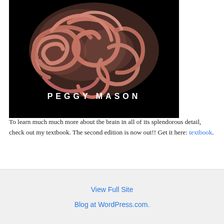[Figure (photo): Book cover showing a pink/salmon-colored brain on a black background with the author name 'PEGGY MASON' in white spaced letters at the bottom]
To learn much much more about the brain in all of its splendorous detail, check out my textbook. The second edition is now out!! Get it here: textbook.
View Full Site
Blog at WordPress.com.